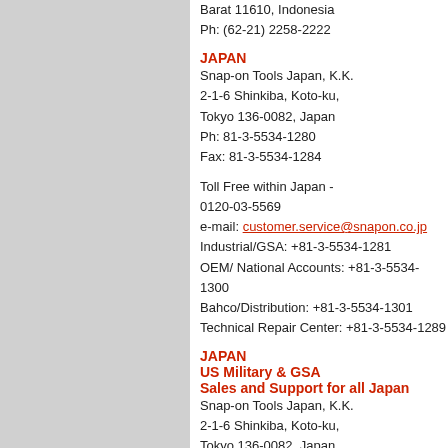Barat 11610, Indonesia
Ph: (62-21) 2258-2222
JAPAN
Snap-on Tools Japan, K.K.
2-1-6 Shinkiba, Koto-ku,
Tokyo 136-0082, Japan
Ph: 81-3-5534-1280
Fax: 81-3-5534-1284
Toll Free within Japan -
0120-03-5569
e-mail: customer.service@snapon.co.jp
Industrial/GSA: +81-3-5534-1281
OEM/ National Accounts: +81-3-5534-1300
Bahco/Distribution: +81-3-5534-1301
Technical Repair Center: +81-3-5534-1289
JAPAN
US Military & GSA
Sales and Support for all Japan
Snap-on Tools Japan, K.K.
2-1-6 Shinkiba, Koto-ku,
Tokyo 136-0082, Japan
Ph: 81-3-5534-1298
Fax: 81-3-5534-1283